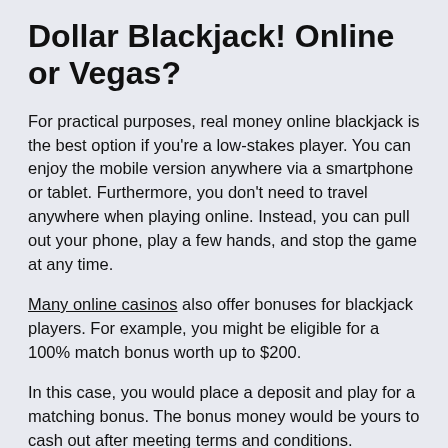Dollar Blackjack! Online or Vegas?
For practical purposes, real money online blackjack is the best option if you're a low-stakes player. You can enjoy the mobile version anywhere via a smartphone or tablet. Furthermore, you don't need to travel anywhere when playing online. Instead, you can pull out your phone, play a few hands, and stop the game at any time.
Many online casinos also offer bonuses for blackjack players. For example, you might be eligible for a 100% match bonus worth up to $200.
In this case, you would place a deposit and play for a matching bonus. The bonus money would be yours to cash out after meeting terms and conditions.
Conclusion For $1 Blackjack